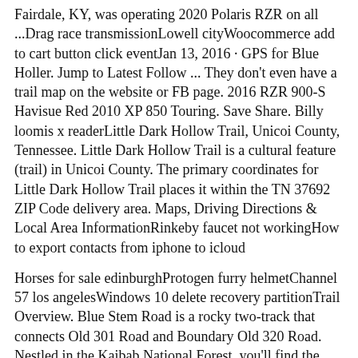Fairdale, KY, was operating 2020 Polaris RZR on all ...Drag race transmissionLowell cityWoocommerce add to cart button click eventJan 13, 2016 · GPS for Blue Holler. Jump to Latest Follow ... They don't even have a trail map on the website or FB page. 2016 RZR 900-S Havisue Red 2010 XP 850 Touring. Save Share. Billy loomis x readerLittle Dark Hollow Trail, Unicoi County, Tennessee. Little Dark Hollow Trail is a cultural feature (trail) in Unicoi County. The primary coordinates for Little Dark Hollow Trail places it within the TN 37692 ZIP Code delivery area. Maps, Driving Directions & Local Area InformationRinkeby faucet not workingHow to export contacts from iphone to icloud
Horses for sale edinburghProtogen furry helmetChannel 57 los angelesWindows 10 delete recovery partitionTrail Overview. Blue Stem Road is a rocky two-track that connects Old 301 Road and Boundary Old 320 Road. Nestled in the Kaibab National Forest, you'll find the gentle South end of this road more welcoming than some of the sketchier sections and rocky terrain of the North. The story of the Kaibab National Forest is that of Ponderosa Pine ... How to get part time jobFeb 14, 2022 · Trail Maps. With over 500 miles of trails, choosing your next hike in Shenandoah can be a little daunting. Not to fear! We've put together trail maps with recommended day hikes for different areas of the Park. Print them out, or download the accessible PDFs to take with you on your mobile device. Note that all of these maps are intended for ... Buy Blue Holler Off Road Park Map from ... My Trail Maps My Trails